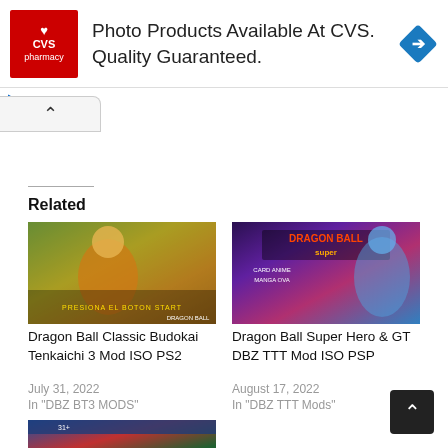[Figure (infographic): CVS Pharmacy advertisement banner. Red CVS Pharmacy logo on left, text 'Photo Products Available At CVS. Quality Guaranteed.' in center, blue diamond map icon on right.]
Photo Products Available At CVS. Quality Guaranteed.
Related
[Figure (photo): Dragon Ball Classic Budokai Tenkaichi 3 Mod ISO PS2 game cover art - anime characters with yellow/orange colors]
Dragon Ball Classic Budokai Tenkaichi 3 Mod ISO PS2
July 31, 2022
In "DBZ BT3 MODS"
[Figure (photo): Dragon Ball Super Hero & GT DBZ TTT Mod ISO PSP game cover art - purple/blue color scheme with anime characters]
Dragon Ball Super Hero & GT DBZ TTT Mod ISO PSP
August 17, 2022
In "DBZ TTT Mods"
[Figure (photo): Third Dragon Ball related game cover art - partially visible at bottom of page]